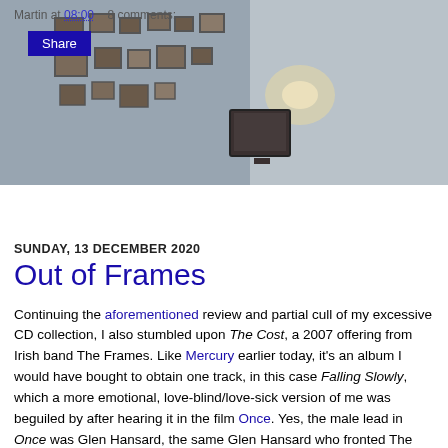[Figure (photo): Background photo of a wall with multiple framed pictures arranged on it, muted blue-grey tones]
Martin at 08:00    8 comments:
Share
SUNDAY, 13 DECEMBER 2020
Out of Frames
Continuing the aforementioned review and partial cull of my excessive CD collection, I also stumbled upon The Cost, a 2007 offering from Irish band The Frames. Like Mercury earlier today, it's an album I would have bought to obtain one track, in this case Falling Slowly, which a more emotional, love-blind/love-sick version of me was beguiled by after hearing it in the film Once. Yes, the male lead in Once was Glen Hansard, the same Glen Hansard who fronted The Frames. And yes, female lead Markéta Irglová is the same Markéta Irglová who has a writing credit for Falling Slowly. All these things are true.
But what of the album? Well, it's okay, a little grey, a little whiny in places, a little too earnest, maybe. It's an album